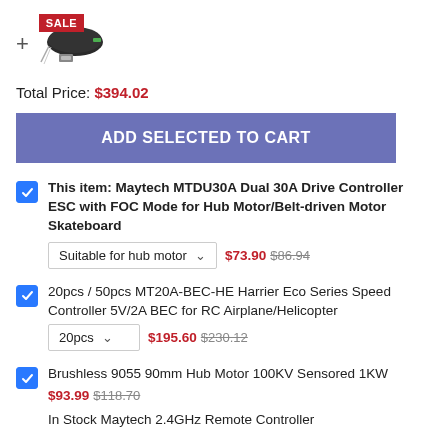[Figure (photo): Product thumbnail with SALE badge — dark oval/electronic component with cable]
Total Price: $394.02
ADD SELECTED TO CART
This item: Maytech MTDU30A Dual 30A Drive Controller ESC with FOC Mode for Hub Motor/Belt-driven Motor Skateboard
Suitable for hub motor  ▾   $73.90  $86.94
20pcs / 50pcs MT20A-BEC-HE Harrier Eco Series Speed Controller 5V/2A BEC for RC Airplane/Helicopter
20pcs  ▾   $195.60  $230.12
Brushless 9055 90mm Hub Motor 100KV Sensored 1KW
$93.99  $118.70
In Stock Maytech 2.4GHz Remote Controller